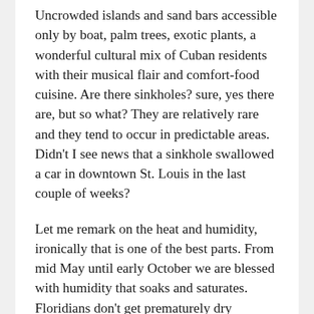Uncrowded islands and sand bars accessible only by boat, palm trees, exotic plants, a wonderful cultural mix of Cuban residents with their musical flair and comfort-food cuisine. Are there sinkholes? sure, yes there are, but so what? They are relatively rare and they tend to occur in predictable areas. Didn't I see news that a sinkhole swallowed a car in downtown St. Louis in the last couple of weeks?
Let me remark on the heat and humidity, ironically that is one of the best parts. From mid May until early October we are blessed with humidity that soaks and saturates. Floridians don't get prematurely dry wrinkled skin, the humidity is a natural skin elixir. The climate encourages minimalist, loose clothing. Bare feet or flip flops are preferred and a floppy hat to stave off the summer sun. What is bad about that? Most would include it in their description of paradise. Sure, if you want to